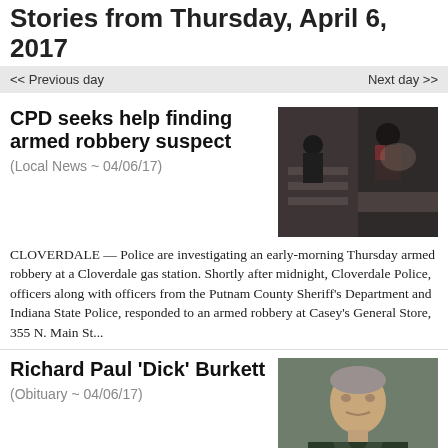Stories from Thursday, April 6, 2017
<< Previous day    Next day >>
CPD seeks help finding armed robbery suspect (Local News ~ 04/06/17)
[Figure (photo): Security camera footage showing armed robbery suspect at a gas station]
CLOVERDALE — Police are investigating an early-morning Thursday armed robbery at a Cloverdale gas station. Shortly after midnight, Cloverdale Police, officers along with officers from the Putnam County Sheriff's Department and Indiana State Police, responded to an armed robbery at Casey's General Store, 355 N. Main St...
Richard Paul 'Dick' Burkett (Obituary ~ 04/06/17)
[Figure (photo): Portrait photograph of Richard Paul 'Dick' Burkett in military uniform]
Richard (Dick) Paul Burkett, 90, passed away April 2, 2017 in Greencastle. He enlisted in the Navy at 17, trained as a signal man and served in the Pacific during World War II. He re-enlisted in the Army and served in Japan as part of the 11th Airborne Division as a code radio operator. ...